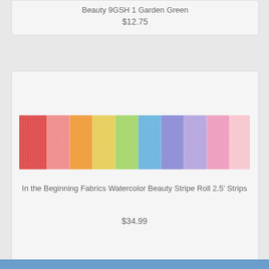Beauty 9GSH 1 Garden Green
$12.75
[Figure (photo): Watercolor Beauty Stripe Roll fabric showing horizontal rainbow-colored strips of fabric with speckled/mottled texture in red, orange, yellow, green, blue, purple, and pink hues]
In the Beginning Fabrics Watercolor Beauty Stripe Roll 2.5' Strips
$34.99